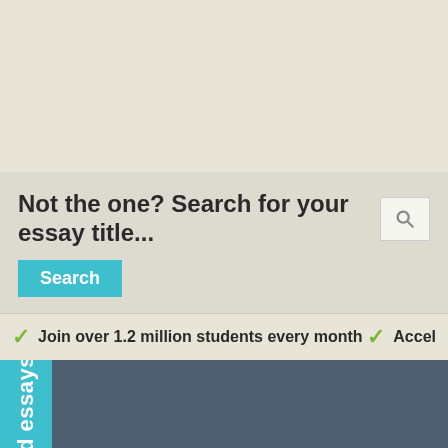Not the one? Search for your essay title...
Search
Join over 1.2 million students every month
Accel...
See related essays